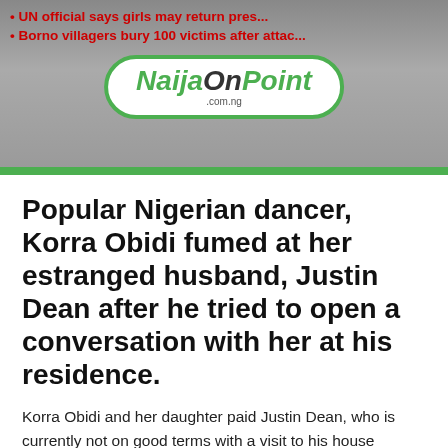[Figure (logo): NaijaOnPoint.com.ng website header banner with logo and red news headlines in background]
Popular Nigerian dancer, Korra Obidi fumed at her estranged husband, Justin Dean after he tried to open a conversation with her at his residence.
Korra Obidi and her daughter paid Justin Dean, who is currently not on good terms with a visit to his house probably for her daughter to spend some time with her daddy.